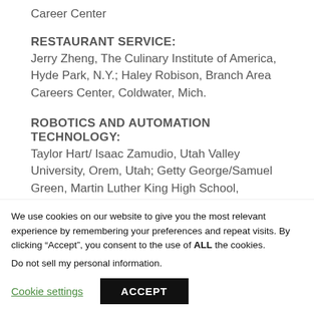Career Center
RESTAURANT SERVICE:
Jerry Zheng, The Culinary Institute of America, Hyde Park, N.Y.; Haley Robison, Branch Area Careers Center, Coldwater, Mich.
ROBOTICS AND AUTOMATION TECHNOLOGY:
Taylor Hart/ Isaac Zamudio, Utah Valley University, Orem, Utah; Getty George/Samuel Green, Martin Luther King High School, Riverside, Calif.
We use cookies on our website to give you the most relevant experience by remembering your preferences and repeat visits. By clicking “Accept”, you consent to the use of ALL the cookies.
Do not sell my personal information.